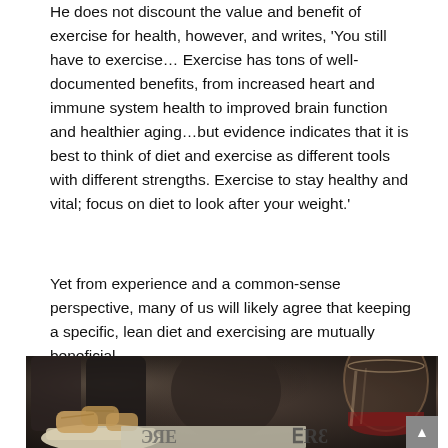He does not discount the value and benefit of exercise for health, however, and writes, 'You still have to exercise… Exercise has tons of well-documented benefits, from increased heart and immune system health to improved brain function and healthier aging…but evidence indicates that it is best to think of diet and exercise as different tools with different strengths. Exercise to stay healthy and vital; focus on diet to look after your weight.'
Yet from experience and a common-sense perspective, many of us will likely agree that keeping a specific, lean diet and exercising are mutually beneficial.
[Figure (photo): A dark, moody photo showing a bowl of bread pieces on the left, a newspaper in the center-bottom, and a wine glass partially filled with red wine on the right, all on a dark table surface.]